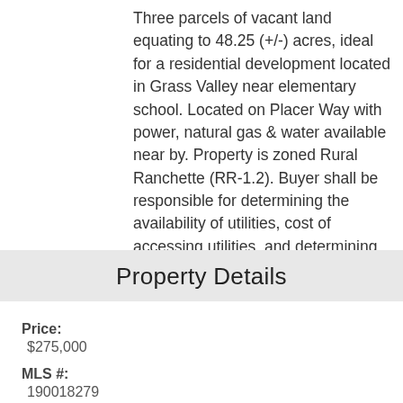Three parcels of vacant land equating to 48.25 (+/-) acres, ideal for a residential development located in Grass Valley near elementary school. Located on Placer Way with power, natural gas & water available near by. Property is zoned Rural Ranchette (RR-1.2). Buyer shall be responsible for determining the availability of utilities, cost of accessing utilities, and determining the exact boundaries of the properties.
Property Details
| Price: | $275,000 |
| MLS #: | 190018279 |
| Status: | ACTIVE |